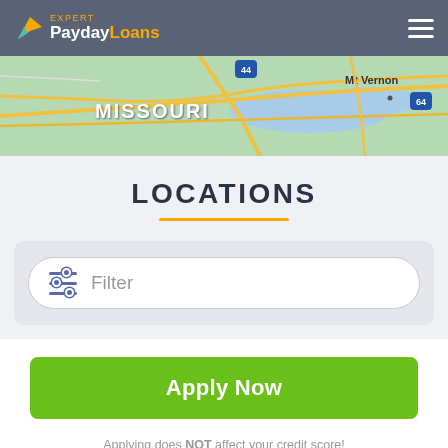[Figure (logo): PaydayLoans Expert logo with yellow leaf icon]
[Figure (map): Map showing Missouri region with highway 44 and Mt Vernon area, highway 64]
LOCATIONS
Filter
Apply Now
Applying does NOT affect your credit score!
No credit check to apply.